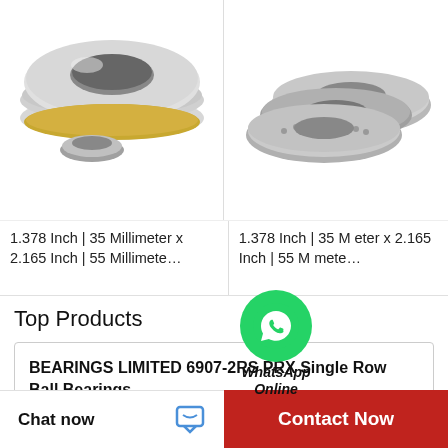[Figure (photo): Silver and gold thrust bearing / angular contact bearing components on white background]
[Figure (photo): Flat thrust ball bearing set (two washers and a cage with balls) on white background]
1.378 Inch | 35 Millimeter x 2.165 Inch | 55 Millimete…
1.378 Inch | 35 Millimeter x 2.165 Inch | 55 Millimete…
[Figure (logo): WhatsApp green circle icon with phone/chat symbol, labeled WhatsApp Online]
Top Products
BEARINGS LIMITED 6907-2RS PRX Single Row Ball Bearings
GM INDUSTRIES GA AFX11A055SEM El…
Chat now
Contact Now